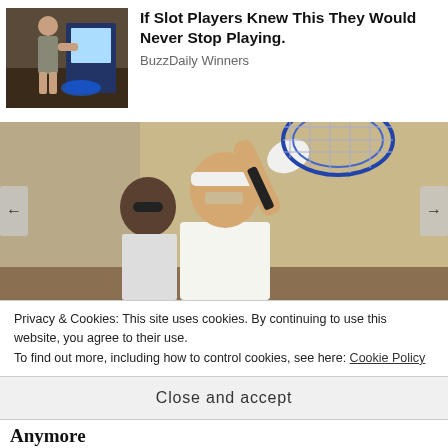[Figure (photo): Thumbnail of a woman in a casino playing slot machines]
If Slot Players Knew This They Would Never Stop Playing.
BuzzDaily Winners
[Figure (photo): Elderly man wearing a white headband and sleeveless shirt playing tennis, holding a racket raised, with another person in the background]
Privacy & Cookies: This site uses cookies. By continuing to use this website, you agree to their use.
To find out more, including how to control cookies, see here: Cookie Policy
Close and accept
Anymore